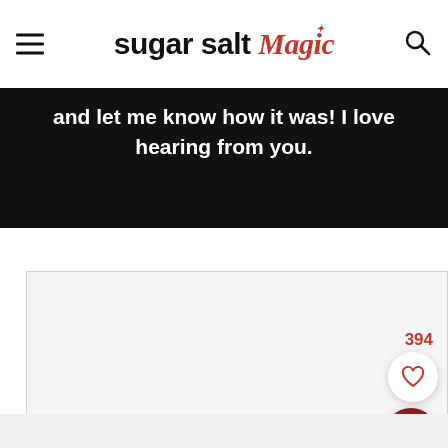sugar salt magic
and let me know how it was! I love hearing from you.
[Figure (other): Large placeholder image area with light gray background and border, showing a save/favorite count of 394 with a heart button and a search/magnify button overlaid on the bottom-right corner.]